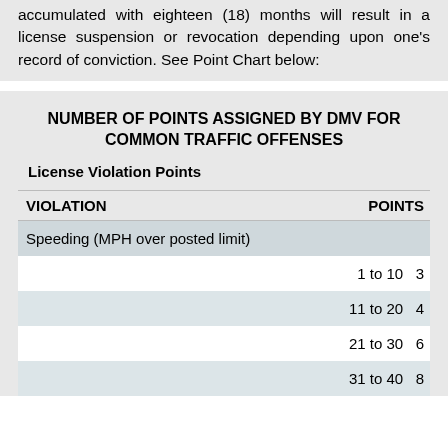accumulated with eighteen (18) months will result in a license suspension or revocation depending upon one's record of conviction. See Point Chart below:
NUMBER OF POINTS ASSIGNED BY DMV FOR COMMON TRAFFIC OFFENSES
License Violation Points
| VIOLATION | POINTS |
| --- | --- |
| Speeding (MPH over posted limit) |  |
|  | 1 to 10 | 3 |
|  | 11 to 20 | 4 |
|  | 21 to 30 | 6 |
|  | 31 to 40 | 8 |